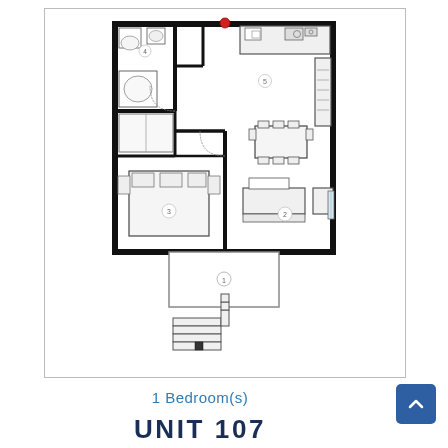[Figure (schematic): Architectural floor plan of a 1-bedroom apartment unit. The plan shows: a bathroom (top-left, with toilet, sink, and bathtub), a kitchen (top-right, with counters and appliances), a bedroom (bottom-left, with bed and nightstands), a living/dining area (right, with dining table and chairs, sofa, coffee table, and armchair), a hallway/entry, and a stair footprint at the bottom center. Rooms are labeled with small circled numbers. The exterior walls are thick black lines. A red dot marks the entry near the top.]
1 Bedroom(s)
UNIT 107